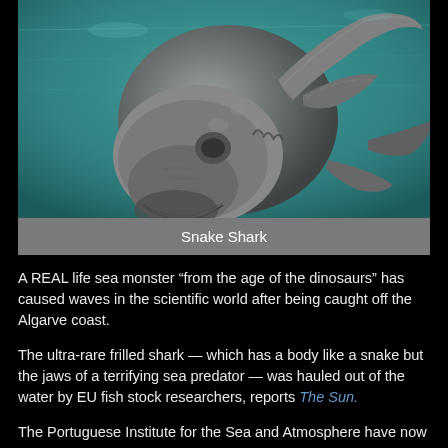[Figure (photo): Underwater photo of a frilled shark (snake shark) viewed from below/front, showing its distinctive elongated body and wide jaws, against a teal/turquoise water background]
Snake Shark
A REAL life sea monster “from the age of the dinosaurs” has caused waves in the scientific world after being caught off the Algarve coast.
The ultra-rare frilled shark — which has a body like a snake but the jaws of a terrifying sea predator — was hauled out of the water by EU fish stock researchers, reports The Sun.
The Portuguese Institute for the Sea and Atmosphere have now